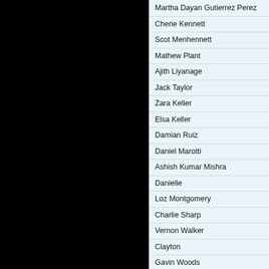[Figure (photo): Black rectangular panel on the left side of the page]
Martha Dayan Gutierrez Perez
Cherie Kennett
Scot Menhennett
Mathew Plant
Ajith Liyanage
Jack Taylor
Zara Keller
Elsa Keller
Damian Ruiz
Daniel Marotti
Ashish Kumar Mishra
Danielle
Loz Montgomery
Charlie Sharp
Vernon Walker
Clayton
Gavin Woods
Jack Conley
Josh Oliver
Jack William Mackatt